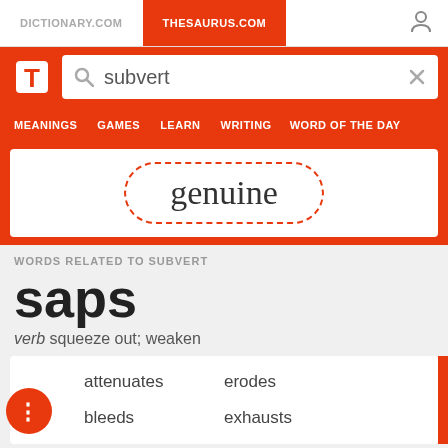DICTIONARY.COM | THESAURUS.COM
[Figure (screenshot): Search bar with logo and text 'subvert']
MEANINGS  GAMES  LEARN  WRITING  WORD OF THE DAY
genuine
WORDS RELATED TO SUBVERT
saps
verb squeeze out; weaken
attenuates
erodes
bleeds
exhausts